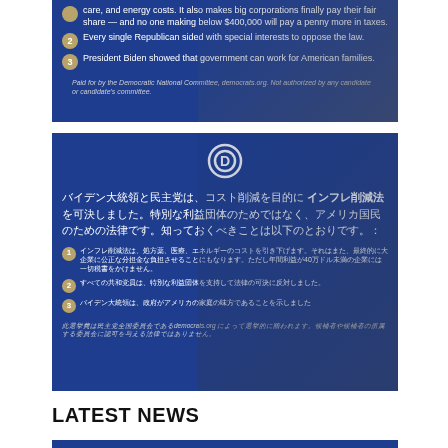[Figure (infographic): Democratic National Committee political ad (English) on dark blue background with American flag imagery. Contains 3 numbered points about the Inflation Reduction Act and a paid-for disclaimer.]
[Figure (infographic): Democratic National Committee political ad (Japanese) on dark blue background with DNC circle-D logo and American flag imagery. Contains Japanese-language heading about Biden and the Democratic Party passing the Inflation Reduction Act, 3 numbered points in Japanese, and a Japanese disclaimer.]
LATEST NEWS